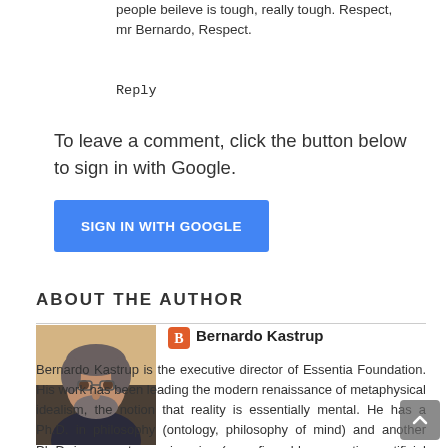people beileve is tough, really tough. Respect, mr Bernardo, Respect.
Reply
To leave a comment, click the button below to sign in with Google.
[Figure (other): Blue button labeled SIGN IN WITH GOOGLE]
ABOUT THE AUTHOR
[Figure (photo): Headshot photo of Bernardo Kastrup, a middle-aged man with short gray-speckled hair and beard, wearing a dark top]
Bernardo Kastrup
Bernardo Kastrup is the executive director of Essentia Foundation. His work has been leading the modern renaissance of metaphysical idealism, the notion that reality is essentially mental. He has a Ph.D. in philosophy (ontology, philosophy of mind) and another Ph.D. in computer engineering (reconfigurable computing, artificial intelligence). As a